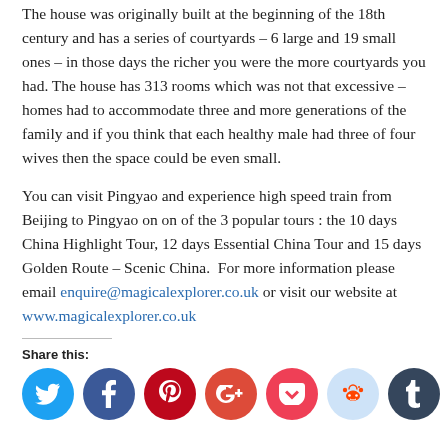The house was originally built at the beginning of the 18th century and has a series of courtyards – 6 large and 19 small ones – in those days the richer you were the more courtyards you had. The house has 313 rooms which was not that excessive – homes had to accommodate three and more generations of the family and if you think that each healthy male had three of four wives then the space could be even small.
You can visit Pingyao and experience high speed train from Beijing to Pingyao on on of the 3 popular tours : the 10 days China Highlight Tour, 12 days Essential China Tour and 15 days Golden Route – Scenic China. For more information please email enquire@magicalexplorer.co.uk or visit our website at www.magicalexplorer.co.uk
Share this:
[Figure (other): Social media share icons: Twitter (blue), Facebook (dark blue), Pinterest (red), Google+ (red-orange), Pocket (red), Reddit (light blue), Tumblr (dark blue)]